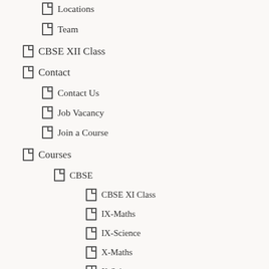Locations
Team
CBSE XII Class
Contact
Contact Us
Job Vacancy
Join a Course
Courses
CBSE
CBSE XI Class
IX-Maths
IX-Science
X-Maths
X-Science
XI-Accounts
XI-Biology